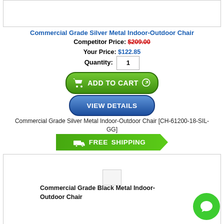[Figure (other): Top product image placeholder box (gray bordered rectangle)]
Commercial Grade Silver Metal Indoor-Outdoor Chair
Competitor Price: $209.00
Your Price: $122.85
Quantity: 1
[Figure (other): ADD TO CART green button with cart icon]
[Figure (other): VIEW DETAILS blue button]
Commercial Grade Silver Metal Indoor-Outdoor Chair [CH-61200-18-SIL-GG]
[Figure (other): FREE SHIPPING green badge with truck icon]
[Figure (other): Second product card image placeholder]
Commercial Grade Black Metal Indoor-Outdoor Chair
[Figure (other): Green chat bubble button in bottom right corner]